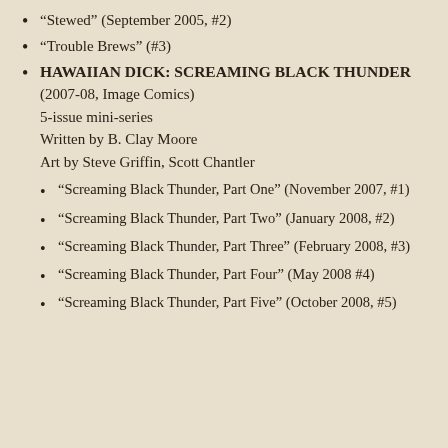“Stewed” (September 2005, #2)
“Trouble Brews” (#3)
HAWAIIAN DICK: SCREAMING BLACK THUNDER (2007-08, Image Comics) 5-issue mini-series Written by B. Clay Moore Art by Steve Griffin, Scott Chantler
“Screaming Black Thunder, Part One” (November 2007, #1)
“Screaming Black Thunder, Part Two” (January 2008, #2)
“Screaming Black Thunder, Part Three” (February 2008, #3)
“Screaming Black Thunder, Part Four” (May 2008 #4)
“Screaming Black Thunder, Part Five” (October 2008, #5)